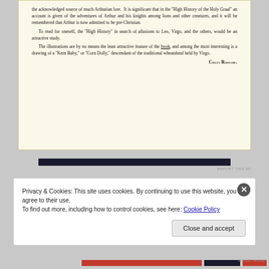the acknowledged source of much Arthurian lore. It is significant that in the ''High History of the Holy Graal'' an account is given of the adventures of Arthur and his knights among lions and other creatures, and it will be remembered that Arthur is now admitted to be pre-Christian.

To read for oneself, the ''High History'' in search of allusions to Leo, Virgo, and the others, would be an attractive study.

The illustrations are by no means the least attractive feature of the book, and among the most interesting is a drawing of a ''Kern Baby,'' or ''Corn Dolly,'' descendant of the traditional wheatsheaf held by Virgo.
Celia Roscoe.
Privacy & Cookies: This site uses cookies. By continuing to use this website, you agree to their use.
To find out more, including how to control cookies, see here: Cookie Policy
Close and accept